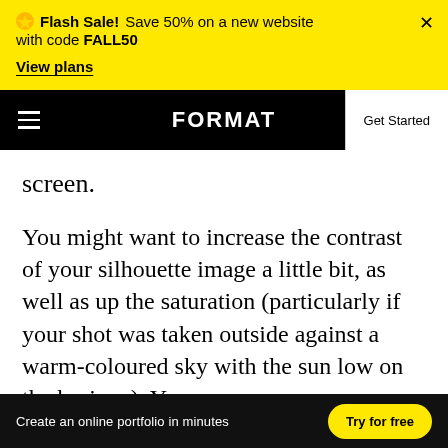Flash Sale! Save 50% on a new website with code FALL50 View plans
FORMAT — Get Started
screen.
You might want to increase the contrast of your silhouette image a little bit, as well as up the saturation (particularly if your shot was taken outside against a warm-coloured sky with the sun low on the horizon). You
Create an online portfolio in minutes  Try for free